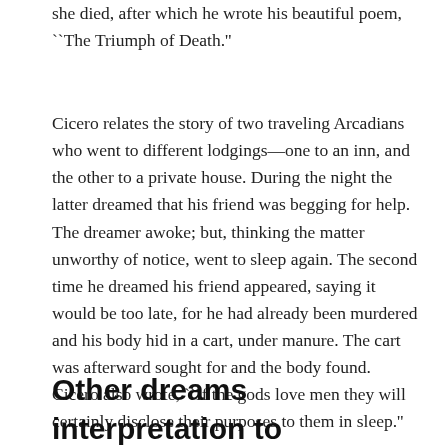she died, after which he wrote his beautiful poem, ``The Triumph of Death.''
Cicero relates the story of two traveling Arcadians who went to different lodgings—one to an inn, and the other to a private house. During the night the latter dreamed that his friend was begging for help. The dreamer awoke; but, thinking the matter unworthy of notice, went to sleep again. The second time he dreamed his friend appeared, saying it would be too late, for he had already been murdered and his body hid in a cart, under manure. The cart was afterward sought for and the body found. Cicero also wrote, ``If the gods love men they will certainly disclose their purposes to them in sleep.''
Other dreams interpretation to